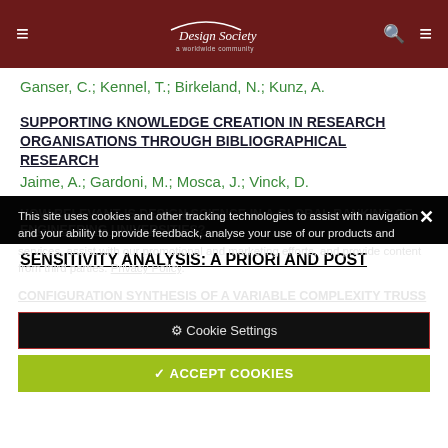The Design Society — worldwide community
Ganser, C.; Kennel, T.; Birkeland, N.; Kunz, A.
SUPPORTING KNOWLEDGE CREATION IN RESEARCH ORGANISATIONS THROUGH BIBLIOGRAPHICAL RESEARCH
Jaime, A.; Gardoni, M.; Mosca, J.; Vinck, D.
This site uses cookies and other tracking technologies to assist with navigation and your ability to provide feedback, analyse your use of our products and services, assist with our promotional and marketing efforts, and provide content from third parties. Privacy Policy.
HOW RELEVANT IS DESIGN SCIENCE IN A GLOBAL RANKING OF ENGINEERING UNIVERSITIES?
CONFIGURATION SYNTHESIS OF A VARIABLE COMPLEXITY TRUSS
SENSITIVITY ANALYSIS: A PRIORI AND POST